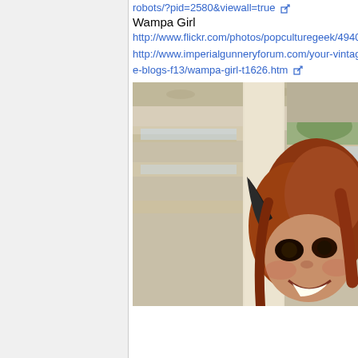http://www.wired.com/underwire/2011/01/best-robots/?pid=2580&viewall=true
Wampa Girl
http://www.flickr.com/photos/popculturegeek/4940...
http://www.imperialgunneryforum.com/your-vintage-blogs-f13/wampa-girl-t1626.htm
[Figure (photo): A smiling woman with red hair and dark horned headpiece, photographed in a multi-story indoor atrium with a large white column in the center background.]